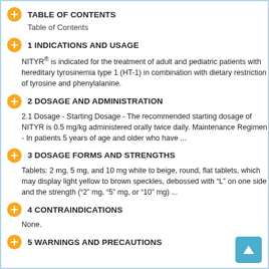TABLE OF CONTENTS
Table of Contents
1 INDICATIONS AND USAGE
NITYR® is indicated for the treatment of adult and pediatric patients with hereditary tyrosinemia type 1 (HT-1) in combination with dietary restriction of tyrosine and phenylalanine.
2 DOSAGE AND ADMINISTRATION
2.1 Dosage - Starting Dosage - The recommended starting dosage of NITYR is 0.5 mg/kg administered orally twice daily. Maintenance Regimen - In patients 5 years of age and older who have ...
3 DOSAGE FORMS AND STRENGTHS
Tablets: 2 mg, 5 mg, and 10 mg white to beige, round, flat tablets, which may display light yellow to brown speckles, debossed with “L” on one side and the strength (“2” mg, “5” mg, or “10” mg) ...
4 CONTRAINDICATIONS
None.
5 WARNINGS AND PRECAUTIONS